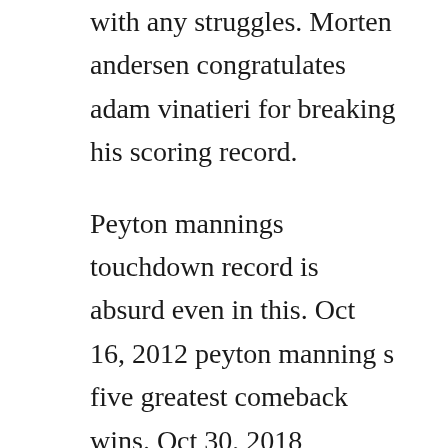with any struggles. Morten andersen congratulates adam vinatieri for breaking his scoring record.
Peyton mannings touchdown record is absurd even in this. Oct 16, 2012 peyton manning s five greatest comeback wins. Oct 30, 2018 demaryius thomas catches peyton mannings 8yard pass for mannings nflrecord 509th career touchdown pass against the san francisco 49ers on oct. Compare scores with friends on all sporcle quizzes. Network news pause play multiple players single player. Post a review first content to be the first